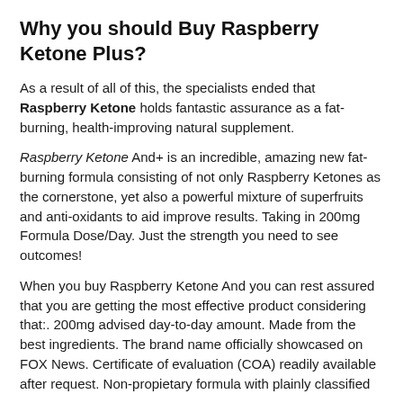Why you should Buy Raspberry Ketone Plus?
As a result of all of this, the specialists ended that Raspberry Ketone holds fantastic assurance as a fat-burning, health-improving natural supplement.
Raspberry Ketone And+ is an incredible, amazing new fat-burning formula consisting of not only Raspberry Ketones as the cornerstone, yet also a powerful mixture of superfruits and anti-oxidants to aid improve results. Taking in 200mg Formula Dose/Day. Just the strength you need to see outcomes!
When you buy Raspberry Ketone And you can rest assured that you are getting the most effective product considering that:. 200mg advised day-to-day amount. Made from the best ingredients. The brand name officially showcased on FOX News. Certificate of evaluation (COA) readily available after request. Non-propietary formula with plainly classified